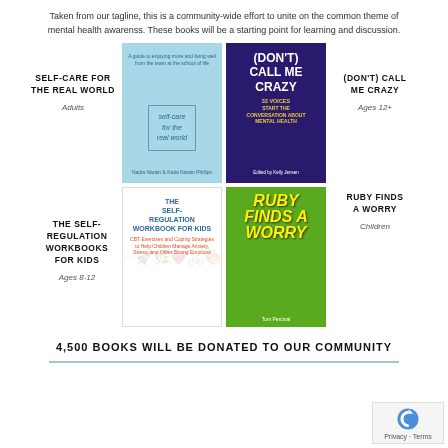Taken from our tagline, this is a community-wide effort to unite on the common theme of mental health awarenss. These books will be a starting point for learning and discussion.
SELF-CARE FOR THE REAL WORLD
Adults
[Figure (photo): Book cover: Self-Care for the Real World, light blue cover]
[Figure (photo): Book cover: (Don't) Call Me Crazy, dark purple cover with yellow subtitle text]
(DON'T) CALL ME CRAZY
Ages 12+
THE SELF-REGULATION WORKBOOKS FOR KIDS
Ages 8-12
[Figure (photo): Book cover: The Self-Regulation Workbook for Kids, white cover with colorful icons]
[Figure (photo): Book cover: Ruby Finds a Worry, green cover with yellow title text]
RUBY FINDS A WORRY
Children
4,500 BOOKS WILL BE DONATED TO OUR COMMUNITY